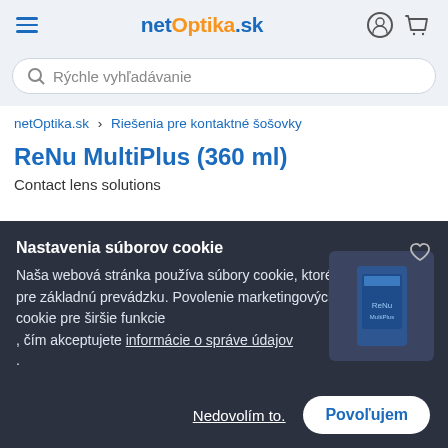netOptika.sk — Rýchle vyhľadávanie
netOptika.sk > Riešenia pre kontaktné šošovky
ReNu MultiPlus (360 ml)
Contact lens solutions
Nastavenia súborov cookie
Naša webová stránka používa súbory cookie, ktoré sú potrebné pre základnú prevádzku. Povolenie marketingových súborov cookie pre širšie funkcie , čím akceptujete informácie o správe údajov .
Nedovolím to.
Povoľujem